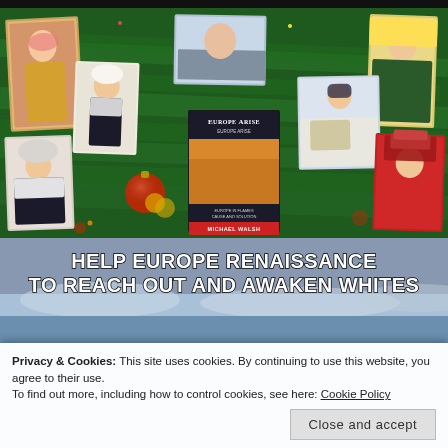[Figure (photo): Christmas-themed photo collage featuring European women in traditional folk costumes, a man sitting at a desk, a girl with a horse, Christmas tree greenery and ornaments, and a book cover titled 'Europe Arise' by Michael Walsh]
[Figure (infographic): Gray banner with bold white text reading 'HELP EUROPE RENAISSANCE TO REACH OUT AND AWAKEN WHITES']
Privacy & Cookies: This site uses cookies. By continuing to use this website, you agree to their use.
To find out more, including how to control cookies, see here: Cookie Policy
Close and accept